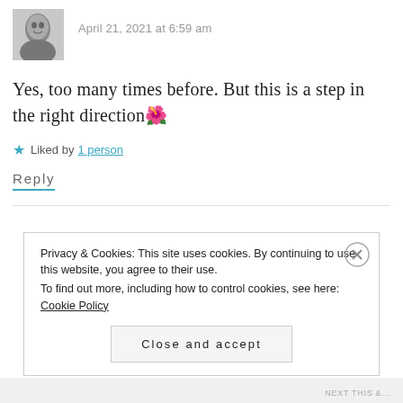[Figure (photo): Black and white portrait photo of a woman with dark hair]
April 21, 2021 at 6:59 am
Yes, too many times before. But this is a step in the right direction🌺
★ Liked by 1 person
Reply
Privacy & Cookies: This site uses cookies. By continuing to use this website, you agree to their use.
To find out more, including how to control cookies, see here: Cookie Policy
Close and accept